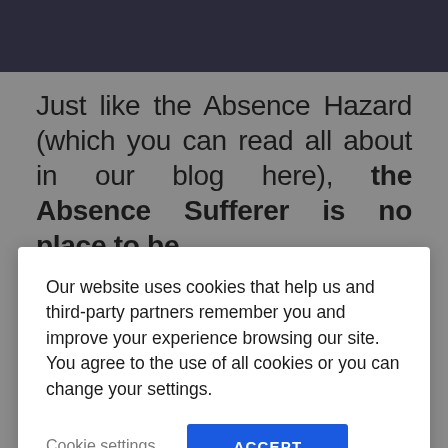[Figure (photo): Dark photographic banner at top of page]
Just like the Absence Hazard (which you can read all about in our blog here), the Absence Sufferer is no place to be
Our website uses cookies that help us and third-party partners remember you and improve your experience browsing our site. You agree to the use of all cookies or you can change your settings.
Cookie settings
ACCEPT
usually, we find Absence Sufferers to be using a single HR system to track absence, or, if you are operating globally, you are likely using multiple HR systems, all of which are managing everything from